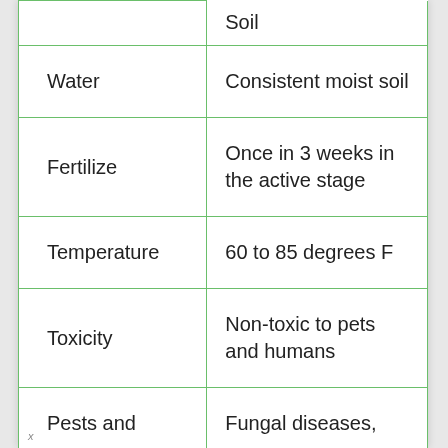| Category | Details |
| --- | --- |
| Water | Consistent moist soil |
| Fertilize | Once in 3 weeks in the active stage |
| Temperature | 60 to 85 degrees F |
| Toxicity | Non-toxic to pets and humans |
| Pests and | Fungal diseases, |